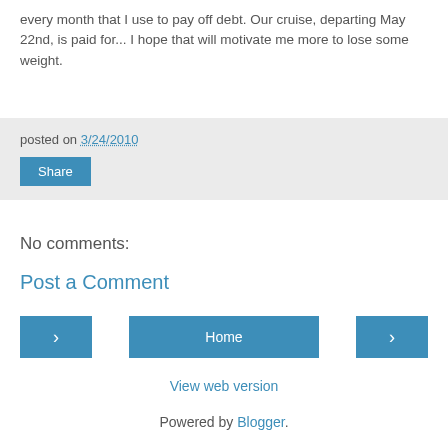every month that I use to pay off debt. Our cruise, departing May 22nd, is paid for... I hope that will motivate me more to lose some weight.
posted on 3/24/2010
Share
No comments:
Post a Comment
< Home >
View web version
Powered by Blogger.